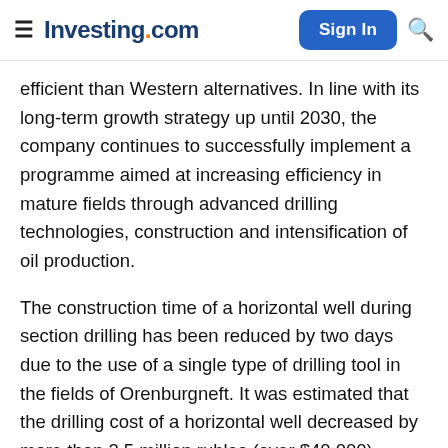Investing.com  Sign In
efficient than Western alternatives. In line with its long-term growth strategy up until 2030, the company continues to successfully implement a programme aimed at increasing efficiency in mature fields through advanced drilling technologies, construction and intensification of oil production.
The construction time of a horizontal well during section drilling has been reduced by two days due to the use of a single type of drilling tool in the fields of Orenburgneft. It was estimated that the drilling cost of a horizontal well decreased by more than 2.5 million rubles (over $40,000).
Another domestic innovation is a well reamers used for drilling a horizontal section. This technology reduces the